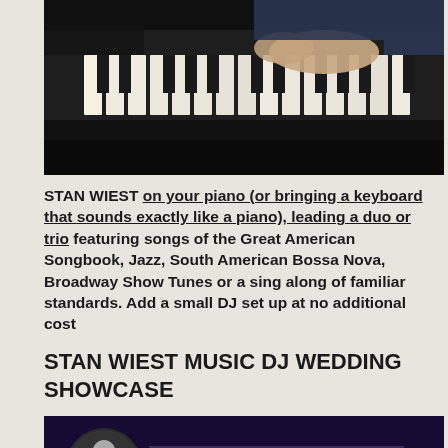[Figure (photo): Close-up photo of hands playing piano keys, dark background, person wearing suit]
STAN WIEST on your piano (or bringing a keyboard that sounds exactly like a piano), leading a duo or trio featuring songs of the Great American Songbook, Jazz, South American Bossa Nova, Broadway Show Tunes or a sing along of familiar standards. Add a small DJ set up at no additional cost
STAN WIEST MUSIC DJ WEDDING SHOWCASE
[Figure (screenshot): Video thumbnail showing DJ performer with text NORTH SHORE DJ LI LONG ISLAN... and three-dot menu icon on dark purple/blue background]